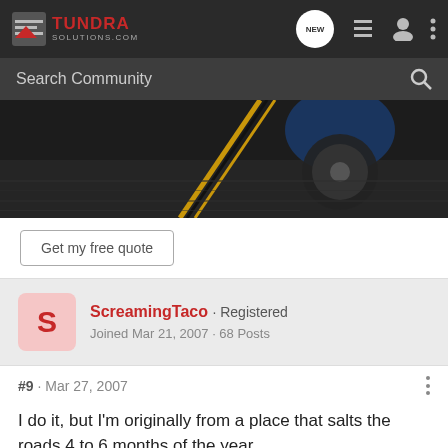TundraSolutions.com - navigation bar with NEW, list, profile, and menu icons
Search Community
[Figure (photo): Partial view of a blue car wheel/tire on a dark road with yellow center line markings, motion blur effect]
Get my free quote
ScreamingTaco · Registered
Joined Mar 21, 2007 · 68 Posts
#9 · Mar 27, 2007
I do it, but I'm originally from a place that salts the roads 4 to 6 months of the year...